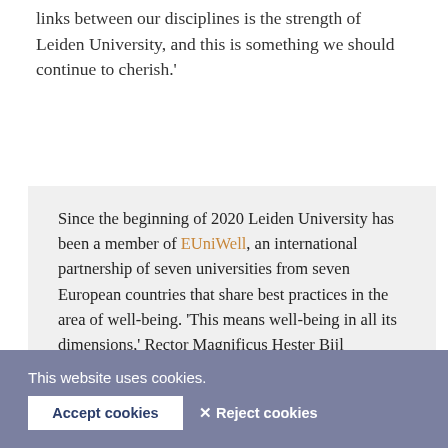links between our disciplines is the strength of Leiden University, and this is something we should continue to cherish.'
Since the beginning of 2020 Leiden University has been a member of EUniWell, an international partnership of seven universities from seven European countries that share best practices in the area of well-being. 'This means well-being in all its dimensions,' Rector Magnificus Hester Bijl emphasised before the speeches of professors Jennifer Cumming and Andrea Evers. 'From individual quality of life to social cohesion. And from the health of the local environment to that of the whole planet.'
This website uses cookies.
Accept cookies
✕ Reject cookies